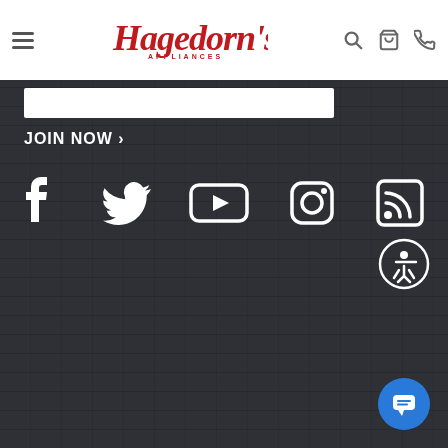Hagedorn's Appliances - Navigation Bar with logo, search, cart, and phone icons
[Figure (screenshot): Email signup input bar (white rectangle)]
JOIN NOW >
[Figure (infographic): Social media icons row: Facebook, Twitter, YouTube, Instagram, RSS feed]
[Figure (infographic): Accessibility icon (person in circle)]
[Figure (infographic): Blue chat bubble button with message icon]